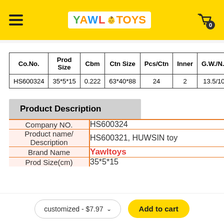Yawl Toys navigation header with logo and cart
| Co.No. | Prod Size | Cbm | Ctn Size | Pcs/Ctn | Inner | G.W./N.W. |
| --- | --- | --- | --- | --- | --- | --- |
| HS600324 | 35*5*15 | 0.222 | 63*40*88 | 24 | 2 | 13.5/10.5 |
Product Description
|  |  |
| --- | --- |
| Company NO. | HS600324 |
| Product name/ Description | HS600321, HUWSIN toy |
| Brand Name | Yawltoys |
| Prod Size(cm) | 35*5*15 |
customized - $7.97
Add to cart